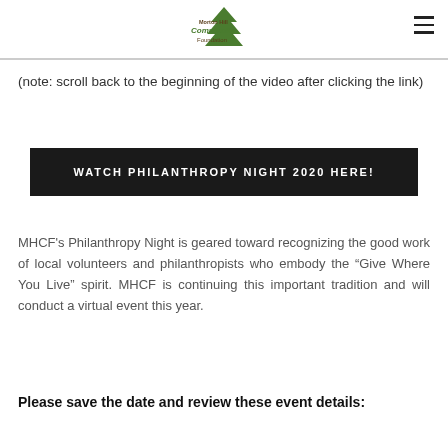[Figure (logo): Morton Hill Community Foundation logo with tree graphic]
(note: scroll back to the beginning of the video after clicking the link)
WATCH PHILANTHROPY NIGHT 2020 HERE!
MHCF’s Philanthropy Night is geared toward recognizing the good work of local volunteers and philanthropists who embody the “Give Where You Live” spirit. MHCF is continuing this important tradition and will conduct a virtual event this year.
Please save the date and review these event details: